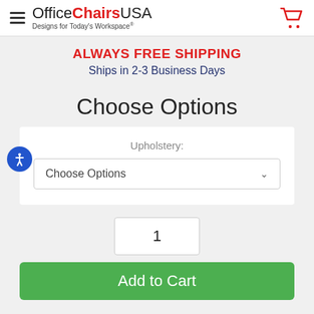OfficeChairsUSA — Designs for Today's Workspace®
ALWAYS FREE SHIPPING
Ships in 2-3 Business Days
Choose Options
Upholstery:
Choose Options
1
Add to Cart